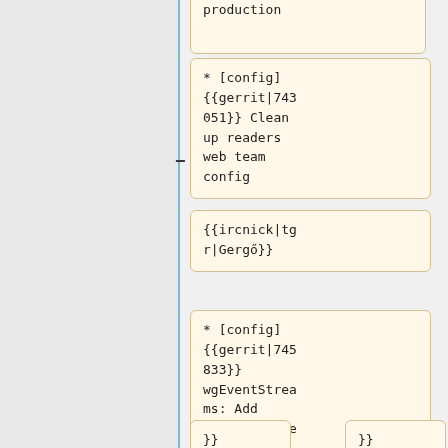production
* [config] {{gerrit|743051}} Clean up readers web team config
{{ircnick|tgr|Gergő}}
* [config] {{gerrit|745833}} wgEventStreams: Add WelcomeSurvey Interaction schema
}}
}}